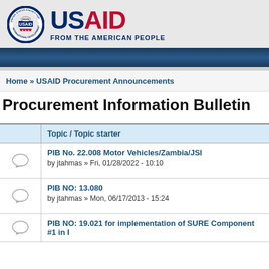[Figure (logo): USAID logo with circular seal and text 'USAID FROM THE AMERICAN PEOPLE' in navy and red]
Home » USAID Procurement Announcements
Procurement Information Bulletin
|  | Topic / Topic starter |
| --- | --- |
| [icon] | PIB No. 22.008 Motor Vehicles/Zambia/JSI
by jtahmas » Fri, 01/28/2022 - 10:10 |
| [icon] | PIB NO: 13.080
by jtahmas » Mon, 06/17/2013 - 15:24 |
| [icon] | PIB NO: 19.021 for implementation of SURE Component #1 in ... |